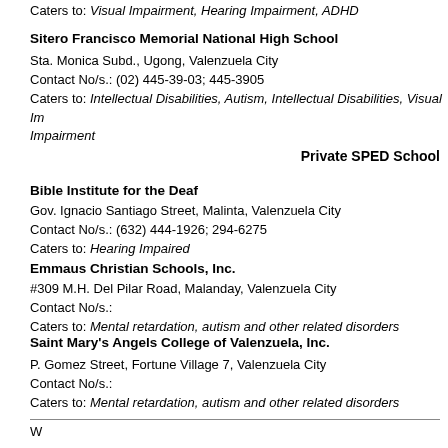Caters to: Visual Impairment, Hearing Impairment, ADHD
Sitero Francisco Memorial National High School
Sta. Monica Subd., Ugong, Valenzuela City
Contact No/s.: (02) 445-39-03; 445-3905
Caters to: Intellectual Disabilities, Autism, Intellectual Disabilities, Visual Impairment
Private SPED School
Bible Institute for the Deaf
Gov. Ignacio Santiago Street, Malinta, Valenzuela City
Contact No/s.: (632) 444-1926; 294-6275
Caters to: Hearing Impaired
Emmaus Christian Schools, Inc.
#309 M.H. Del Pilar Road, Malanday, Valenzuela City
Contact No/s.:
Caters to: Mental retardation, autism and other related disorders
Saint Mary's Angels College of Valenzuela, Inc.
P. Gomez Street, Fortune Village 7, Valenzuela City
Contact No/s.:
Caters to: Mental retardation, autism and other related disorders